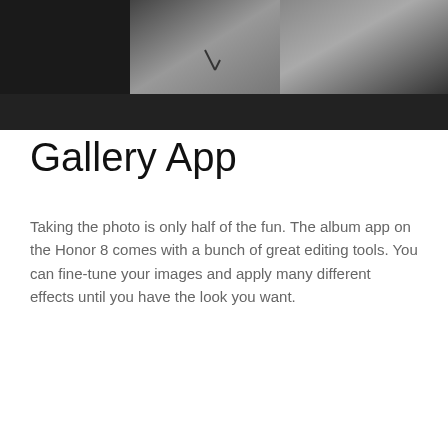[Figure (screenshot): Video player UI with dark background thumbnail strip and playback controls bar showing play button, 00:00 timestamp, progress bar, 00:08 timestamp, and fullscreen button]
Gallery App
Taking the photo is only half of the fun. The album app on the Honor 8 comes with a bunch of great editing tools. You can fine-tune your images and apply many different effects until you have the look you want.
[Figure (screenshot): Black video player popup window with close (X) button in top right corner]